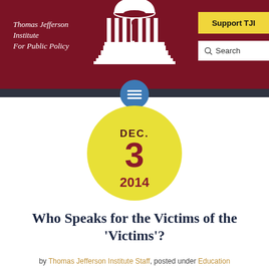Thomas Jefferson Institute For Public Policy
[Figure (logo): Thomas Jefferson Memorial building illustration in white on dark red background]
[Figure (other): Hamburger menu button - blue circle with three white horizontal lines]
[Figure (other): Yellow circle date badge showing DEC. 3 2014]
Who Speaks for the Victims of the 'Victims'?
by Thomas Jefferson Institute Staff, posted under Education